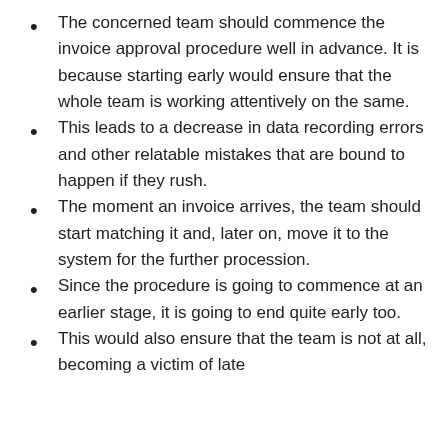The concerned team should commence the invoice approval procedure well in advance. It is because starting early would ensure that the whole team is working attentively on the same.
This leads to a decrease in data recording errors and other relatable mistakes that are bound to happen if they rush.
The moment an invoice arrives, the team should start matching it and, later on, move it to the system for the further procession.
Since the procedure is going to commence at an earlier stage, it is going to end quite early too.
This would also ensure that the team is not at all, becoming a victim of late